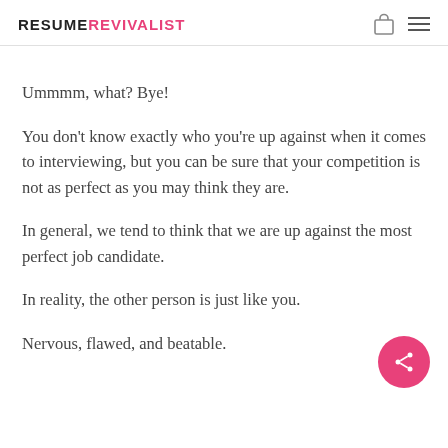RESUMEREVIVALIST
Ummmm, what? Bye!
You don't know exactly who you're up against when it comes to interviewing, but you can be sure that your competition is not as perfect as you may think they are.
In general, we tend to think that we are up against the most perfect job candidate.
In reality, the other person is just like you.
Nervous, flawed, and beatable.